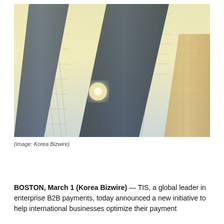[Figure (photo): Upward-angle photograph of modern glass skyscrapers against a bright sky with sun flare, with yellow-tinted vintage filter applied]
(image: Korea Bizwire)
[Figure (infographic): Press Release button badge with dark left section and yellow-green right section reading PRESS RELEASE]
BOSTON, March 1 (Korea Bizwire) — TIS, a global leader in enterprise B2B payments, today announced a new initiative to help international businesses optimize their payment processes